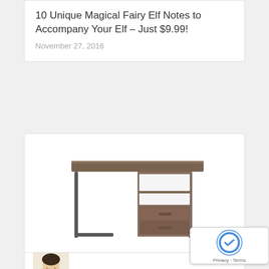10 Unique Magical Fairy Elf Notes to Accompany Your Elf – Just $9.99!
November 27, 2016
[Figure (photo): Photo of an Ameriwood Home Candon Desk in distressed brown oak finish with metal legs, open shelves and two drawers]
Ameriwood Home Candon Desk in Distressed Brown Oak – Just $88.05!
August 13, 2018
[Figure (photo): Partial photo of a smiling woman at the bottom of the page]
[Figure (other): reCAPTCHA badge with Privacy and Terms links]